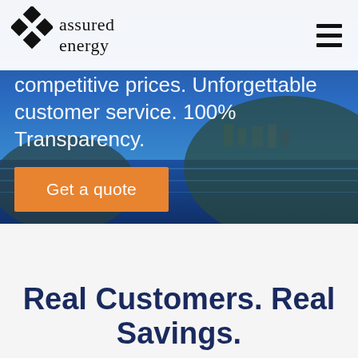assured energy
competitive prices. Unforgettable customer service. 100% Transparency.
Get a quote
Real Customers. Real Savings.